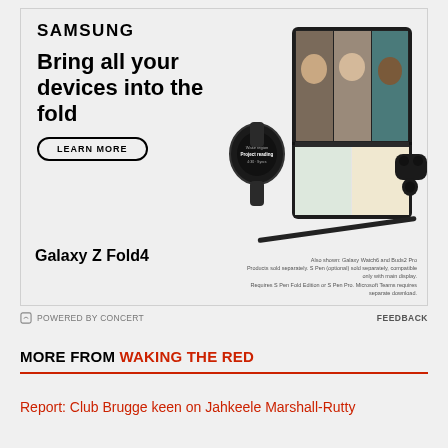[Figure (photo): Samsung Galaxy Z Fold4 advertisement showing the foldable phone open with a video call on screen, a Galaxy Watch6, Galaxy Buds2 Pro, S Pen, and Samsung logo. Text reads: Bring all your devices into the fold. LEARN MORE button. Galaxy Z Fold4 label. Also shown: Galaxy Watch6 and Buds2 Pro disclaimer text.]
POWERED BY CONCERT    FEEDBACK
MORE FROM WAKING THE RED
Report: Club Brugge keen on Jahkeele Marshall-Rutty